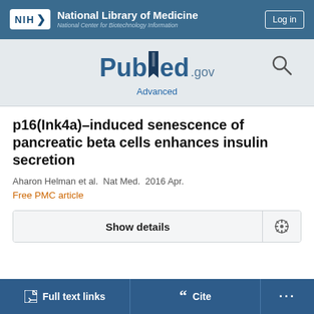[Figure (screenshot): NIH National Library of Medicine header bar with logo and Log in button]
[Figure (logo): PubMed.gov logo with search icon and Advanced link]
p16(Ink4a)-induced senescence of pancreatic beta cells enhances insulin secretion
Aharon Helman et al. Nat Med. 2016 Apr.
Free PMC article
Show details
Full text links
Cite